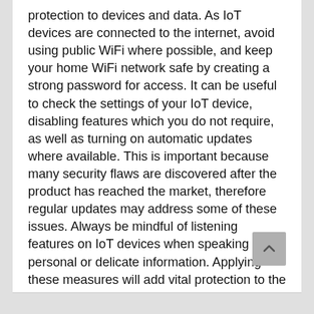protection to devices and data. As IoT devices are connected to the internet, avoid using public WiFi where possible, and keep your home WiFi network safe by creating a strong password for access. It can be useful to check the settings of your IoT device, disabling features which you do not require, as well as turning on automatic updates where available. This is important because many security flaws are discovered after the product has reached the market, therefore regular updates may address some of these issues. Always be mindful of listening features on IoT devices when speaking about personal or delicate information. Applying these measures will add vital protection to the IoT devices which have become standard objects in our lives. Enhancing and making daily tasks simpler, IoT devices should be embraced and enjoyed after having implemented the necessary security steps.